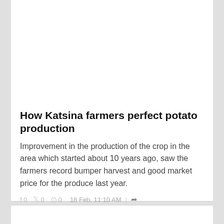How Katsina farmers perfect potato production
Improvement in the production of the crop in the area which started about 10 years ago, saw the farmers record bumper harvest and good market price for the produce last year.
f 0   0   0   18 Feb, 11:10 AM |  ↗